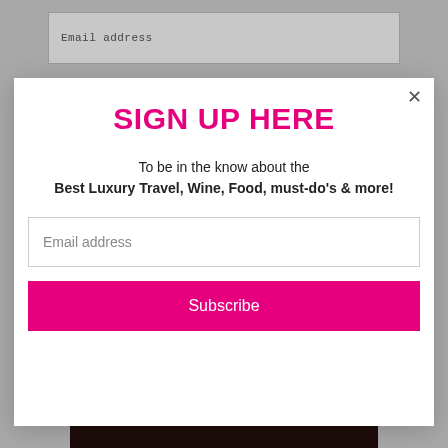Email address
SIGN UP HERE
To be in the know about the
Best Luxury Travel, Wine, Food, must-do's & more!
Email address
Subscribe
[Figure (photo): Dark background photo of a person, partially visible at the bottom of the page]